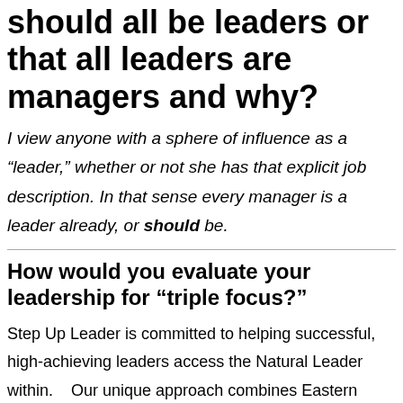should all be leaders or that all leaders are managers and why?
I view anyone with a sphere of influence as a “leader,” whether or not she has that explicit job description. In that sense every manager is a leader already, or should be.
How would you evaluate your leadership for “triple focus?”
Step Up Leader is committed to helping successful, high-achieving leaders access the Natural Leader within.   Our unique approach combines Eastern philosophy with